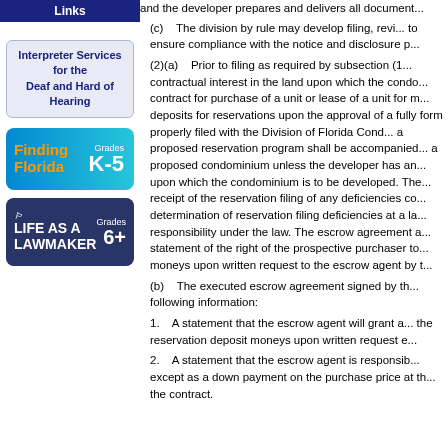Links
Interpreter Services for the Deaf and Hard of Hearing
[Figure (infographic): Finding Florida Grades K-5 banner with blue gradient background]
[Figure (infographic): Life as a Lawmaker Grades 6+ banner with dark blue and building background]
and the developer prepares and delivers all documents...
(c)    The division by rule may develop filing, revi... to ensure compliance with the notice and disclosure p...
(2)(a)    Prior to filing as required by subsection (1... contractual interest in the land upon which the condo... contract for purchase of a unit or lease of a unit for m... deposits for reservations upon the approval of a fully... form properly filed with the Division of Florida Cond... a proposed reservation program shall be accompanied... a proposed condominium unless the developer has an... upon which the condominium is to be developed. The... receipt of the reservation filing of any deficiencies co... determination of reservation filing deficiencies at a la... responsibility under the law. The escrow agreement a... statement of the right of the prospective purchaser to... moneys upon written request to the escrow agent by t...
(b)    The executed escrow agreement signed by th... following information:
1.    A statement that the escrow agent will grant a... the reservation deposit moneys upon written request e...
2.    A statement that the escrow agent is responsib... except as a down payment on the purchase price at th... the contract.